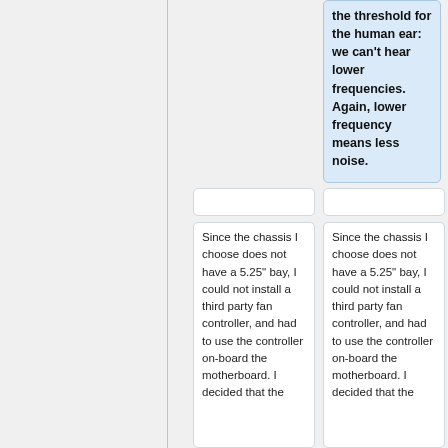the threshold for the human ear: we can't hear lower frequencies. Again, lower frequency means less noise.
Since the chassis I choose does not have a 5.25" bay, I could not install a third party fan controller, and had to use the controller on-board the motherboard. I decided that the
Since the chassis I choose does not have a 5.25" bay, I could not install a third party fan controller, and had to use the controller on-board the motherboard. I decided that the